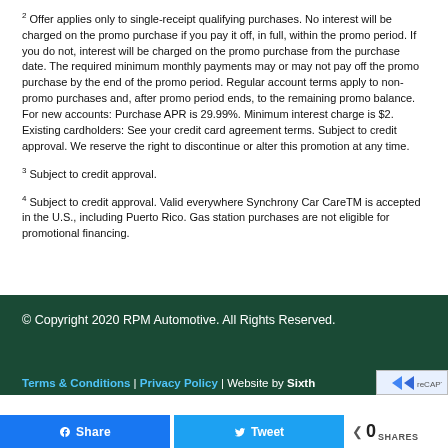2 Offer applies only to single-receipt qualifying purchases. No interest will be charged on the promo purchase if you pay it off, in full, within the promo period. If you do not, interest will be charged on the promo purchase from the purchase date. The required minimum monthly payments may or may not pay off the promo purchase by the end of the promo period. Regular account terms apply to non-promo purchases and, after promo period ends, to the remaining promo balance. For new accounts: Purchase APR is 29.99%. Minimum interest charge is $2. Existing cardholders: See your credit card agreement terms. Subject to credit approval. We reserve the right to discontinue or alter this promotion at any time.
3 Subject to credit approval.
4 Subject to credit approval. Valid everywhere Synchrony Car CareTM is accepted in the U.S., including Puerto Rico. Gas station purchases are not eligible for promotional financing.
© Copyright 2020 RPM Automotive. All Rights Reserved.
Terms & Conditions | Privacy Policy | Website by Sixth